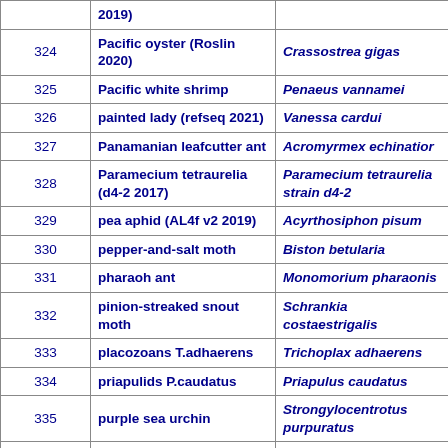|  |  |  |
| --- | --- | --- |
|  | 2019) |  |
| 324 | Pacific oyster (Roslin 2020) | Crassostrea gigas |
| 325 | Pacific white shrimp | Penaeus vannamei |
| 326 | painted lady (refseq 2021) | Vanessa cardui |
| 327 | Panamanian leafcutter ant | Acromyrmex echinatior |
| 328 | Paramecium tetraurelia (d4-2 2017) | Paramecium tetraurelia strain d4-2 |
| 329 | pea aphid (AL4f v2 2019) | Acyrthosiphon pisum |
| 330 | pepper-and-salt moth | Biston betularia |
| 331 | pharaoh ant | Monomorium pharaonis |
| 332 | pinion-streaked snout moth | Schrankia costaestrigalis |
| 333 | placozoans T.adhaerens | Trichoplax adhaerens |
| 334 | priapulids P.caudatus | Priapulus caudatus |
| 335 | purple sea urchin | Strongylocentrotus purpuratus |
| 336 | Queensland fruit fly | Bactrocera tryoni |
| 337 | R.varieornatus (YOKOZUNA-1 2016 tardigrades) | Ramazzottius varieornatus |
|  | red abalone (Redab- |  |